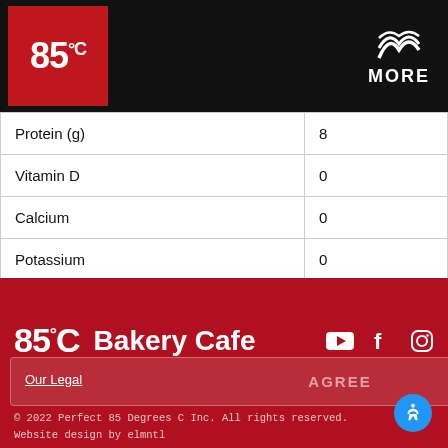[Figure (logo): 85°C logo in red box on black header bar, with MORE logo on the right]
| Protein (g) | 8 |
| Vitamin D | 0 |
| Calcium | 0 |
| Potassium | 0 |
| Iron | 10 |
Previous: Whole Wheat Mushroom
Next: Spicy Sausage
by using this website, you understand that we use cookies to improve your experience and collect analytics data. To find out more, read our privacy policy here.
[Figure (logo): 85°C Bakery Cafe footer logo with YouTube, Facebook, Instagram icons]
Our Legal
AGREE
© 2022 Perfect 85 Degrees C Inc. All rights reserved.
Website design by elmntl